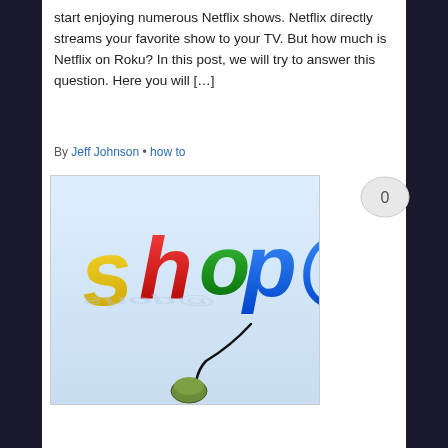start enjoying numerous Netflix shows. Netflix directly streams your favorite show to your TV. But how much is Netflix on Roku? In this post, we will try to answer this question. Here you will […]
By Jeff Johnson • how to
[Figure (photo): 3D colorful 'shop@' text with a computer mouse cord, yellow S, red H, green O, blue P and @ symbol, with reflection on a light blue background]
[Figure (other): Comment bubble with number 0]